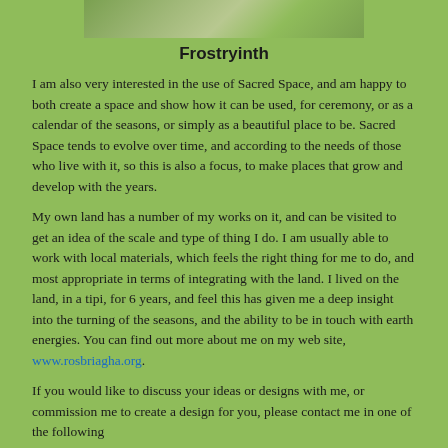[Figure (photo): Partial photo of outdoor landscape/garden scene, cropped at top of page]
Frostryinth
I am also very interested in the use of Sacred Space, and am happy to both create a space and show how it can be used, for ceremony, or as a calendar of the seasons, or simply as a beautiful place to be. Sacred Space tends to evolve over time, and according to the needs of those who live with it, so this is also a focus, to make places that grow and develop with the years.
My own land has a number of my works on it, and can be visited to get an idea of the scale and type of thing I do. I am usually able to work with local materials, which feels the right thing for me to do, and most appropriate in terms of integrating with the land. I lived on the land, in a tipi, for 6 years, and feel this has given me a deep insight into the turning of the seasons, and the ability to be in touch with earth energies. You can find out more about me on my web site, www.rosbriagha.org.
If you would like to discuss your ideas or designs with me, or commission me to create a design for you, please contact me in one of the following